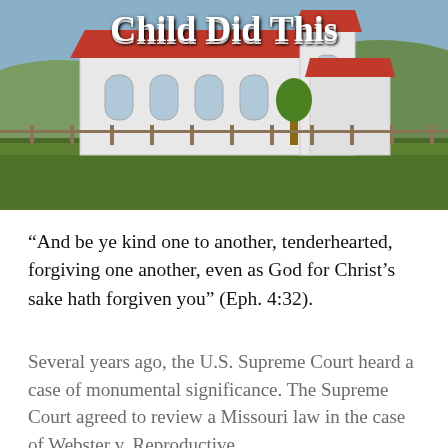[Figure (photo): A white country church with a red roof and a bell tower, set against green fields and hills under a partly cloudy sky. The title 'Child Did This' is overlaid in bold white text at the top of the image.]
Child Did This
“And be ye kind one to another, tenderhearted, forgiving one another, even as God for Christ’s sake hath forgiven you” (Eph. 4:32).
Several years ago, the U.S. Supreme Court heard a case of monumental significance. The Supreme Court agreed to review a Missouri law in the case of Webster v. Reproductive